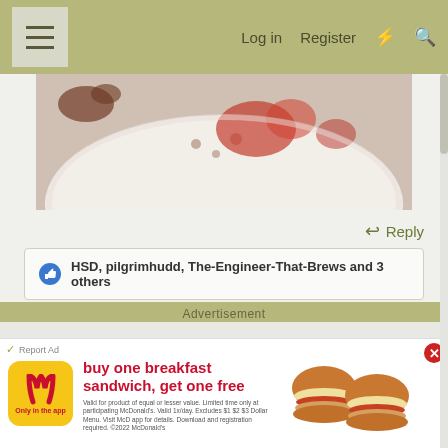Log in  Register
[Figure (photo): Partial view of a plate with food remnants, appears to be leftovers with reddish sauce/tomato bits on a white ceramic plate]
↩ Reply
👍 HSD, pilgrimhudd, The-Engineer-That-Brews and 3 others
Advertisement
[Figure (photo): McDonald's advertisement: 'buy one breakfast sandwich, get one free' showing two breakfast sandwiches. Valid for product of equal or lesser value. Limited time only at participating McDonald's. Valid 1x/day. Excludes $1 $2 $3 Dollar Menu. Visit McD app for details. Download and registration required. ©2022 McDonald's]